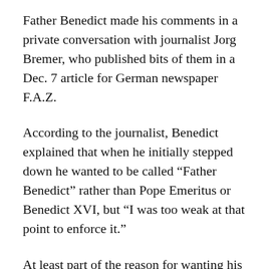Father Benedict made his comments in a private conversation with journalist Jorg Bremer, who published bits of them in a Dec. 7 article for German newspaper F.A.Z.
According to the journalist, Benedict explained that when he initially stepped down he wanted to be called “Father Benedict” rather than Pope Emeritus or Benedict XVI, but “I was too weak at that point to enforce it.”
At least part of the reason for wanting his new title to simply be “Father” rather than Pope Emeritus or Benedict XVI is to put more space between him and the role of the pope